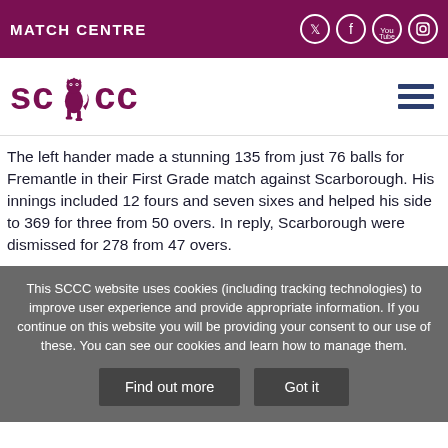MATCH CENTRE
[Figure (logo): SCCC logo with heraldic lion]
The left hander made a stunning 135 from just 76 balls for Fremantle in their First Grade match against Scarborough. His innings included 12 fours and seven sixes and helped his side to 369 for three from 50 overs. In reply, Scarborough were dismissed for 278 from 47 overs.
This SCCC website uses cookies (including tracking technologies) to improve user experience and provide appropriate information. If you continue on this website you will be providing your consent to our use of these. You can see our cookies and learn how to manage them.
Find out more
Got it